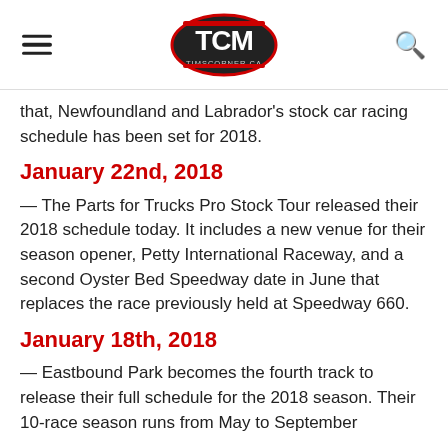TCM TimsCorner.ca
that, Newfoundland and Labrador's stock car racing schedule has been set for 2018.
January 22nd, 2018
— The Parts for Trucks Pro Stock Tour released their 2018 schedule today. It includes a new venue for their season opener, Petty International Raceway, and a second Oyster Bed Speedway date in June that replaces the race previously held at Speedway 660.
January 18th, 2018
— Eastbound Park becomes the fourth track to release their full schedule for the 2018 season. Their 10-race season runs from May to September